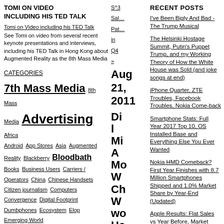TOMI ON VIDEO INCLUDING HIS TED TALK
Tomi on Video including his TED Talk
See Tomi on video from several recent keynote presentations and interviews, including his TED Talk in Hong Kong about Augmented Reality as the 8th Mass Media
CATEGORIES
7th Mass Media  8th Mass Media  Advertising  Africa  Android  App Stores  Asia  Augmented Reality  Blackberry  Bloodbath  Books  Business Users  Carriers / Operators  China  Chinese Handsets  Citizen journalism  Computers  Convergence  Digital Footprint  Dumbphones  Ecosystem  Elop  Emerging World  Engagement marketing  Europe  Finland  Firefox  Forecasts  Gaming  Generation C  Google  Humour  India  iPhone  Japan  Jolla  LG  Location-Based  m-
RECENT POSTS
I've Been Bigly And Bad - The Trump Musical
The Helsinki Hostage Summit, Putin's Puppet Trump, and my Working Theory of How the White House was Sold (and joke songs at end)
iPhone Quarter, ZTE Troubles, Facebook Troubles, Nokia Come-back
Smartphone Stats: Full Year 2017 Top 10, OS Installed Base and Everything Else You Ever Wanted
Nokia HMD Comeback? First Year Finishes with 8.7 Million Smartphones Shipped and 1.0% Market Share by Year-End (Updated)
Apple Results: Flat Sales vs Year Before, Market Share Down One Point (Yet Again)
Prepping for Q4 and Full Year Smartphone Stats. Some things to look out for
Are We Going To See The "$10